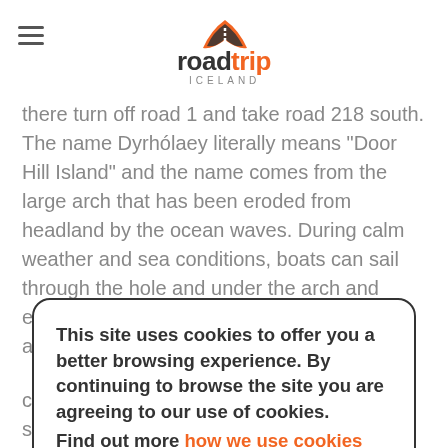roadtrip ICELAND
there turn off road 1 and take road 218 south. The name Dyrhólaey literally means "Door Hill Island" and the name comes from the large arch that has been eroded from headland by the ocean waves. During calm weather and sea conditions, boats can sail through the hole and under the arch and even small airplanes have flown under the arch. It is believed
This site uses cookies to offer you a better browsing experience. By continuing to browse the site you are agreeing to our use of cookies.
Find out more how we use cookies
ACCEPT
coast. Mýrdalsjökull glacier is crowning the scenery to